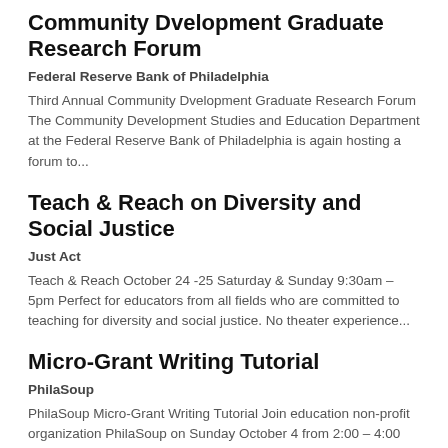Community Dvelopment Graduate Research Forum
Federal Reserve Bank of Philadelphia
Third Annual Community Dvelopment Graduate Research Forum The Community Development Studies and Education Department at the Federal Reserve Bank of Philadelphia is again hosting a forum to...
Teach & Reach on Diversity and Social Justice
Just Act
Teach & Reach October 24 -25 Saturday & Sunday 9:30am – 5pm Perfect for educators from all fields who are committed to teaching for diversity and social justice. No theater experience...
Micro-Grant Writing Tutorial
PhilaSoup
PhilaSoup Micro-Grant Writing Tutorial Join education non-profit organization PhilaSoup on Sunday October 4 from 2:00 – 4:00 pm at Franny Lou's Porch coffee house in Kensington to learn...